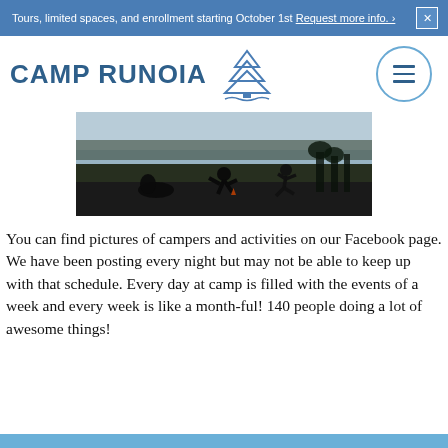Tours, limited spaces, and enrollment starting October 1st Request more info. ›  ×
[Figure (logo): Camp Runoia logo with pine tree graphic and text 'CAMP RUNOIA', with hamburger menu button on the right]
[Figure (photo): Outdoor photo showing people playing on a grassy area near a lake with trees in the background, silhouetted figures]
You can find pictures of campers and activities on our Facebook page. We have been posting every night but may not be able to keep up with that schedule. Every day at camp is filled with the events of a week and every week is like a month-ful! 140 people doing a lot of awesome things!